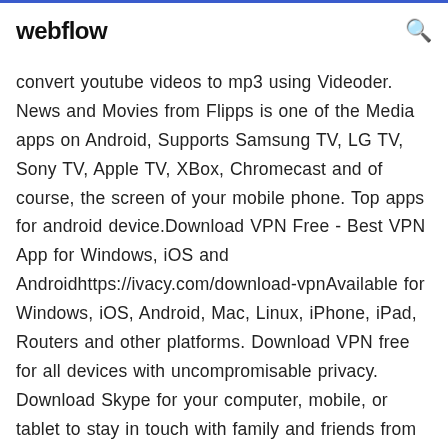webflow
convert youtube videos to mp3 using Videoder. News and Movies from Flipps is one of the Media apps on Android, Supports Samsung TV, LG TV, Sony TV, Apple TV, XBox, Chromecast and of course, the screen of your mobile phone. Top apps for android device.Download VPN Free - Best VPN App for Windows, iOS and Androidhttps://ivacy.com/download-vpnAvailable for Windows, iOS, Android, Mac, Linux, iPhone, iPad, Routers and other platforms. Download VPN free for all devices with uncompromisable privacy. Download Skype for your computer, mobile, or tablet to stay in touch with family and friends from anywhere. Free App Lock - Privacy Knight for